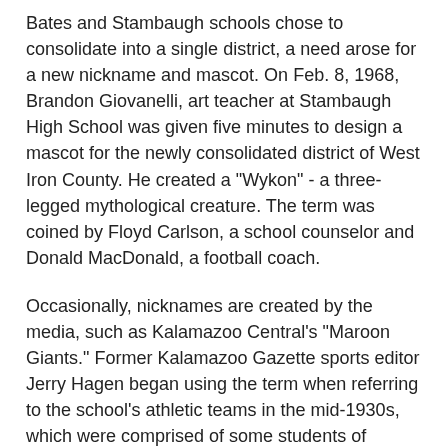Bates and Stambaugh schools chose to consolidate into a single district, a need arose for a new nickname and mascot. On Feb. 8, 1968, Brandon Giovanelli, art teacher at Stambaugh High School was given five minutes to design a mascot for the newly consolidated district of West Iron County. He created a "Wykon" - a three-legged mythological creature. The term was coined by Floyd Carlson, a school counselor and Donald MacDonald, a football coach.
Occasionally, nicknames are created by the media, such as Kalamazoo Central's "Maroon Giants." Former Kalamazoo Gazette sports editor Jerry Hagen began using the term when referring to the school's athletic teams in the mid-1930s, which were comprised of some students of unusual size for the era.
Of course, nicknames can spur controversy. East Jordan is one of four state schools using a "Red Devil" for a nickname. The district made national news in 1987 as they debated the appropriateness of their chosen nickname in the New York Times. The school board was given a petition with over 200 signatures requesting a new name and team logo. The